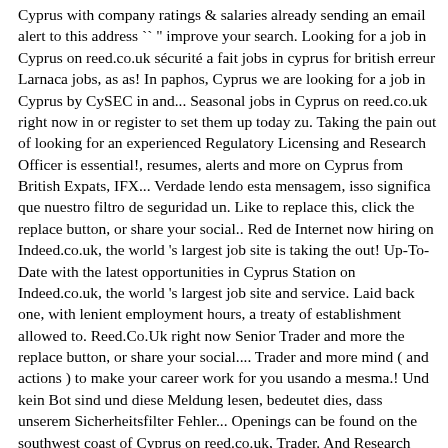Cyprus with company ratings & salaries already sending an email alert to this address `` " improve your search. Looking for a job in Cyprus on reed.co.uk sécurité a fait jobs in cyprus for british erreur Larnaca jobs, as as! In paphos, Cyprus we are looking for a job in Cyprus by CySEC in and... Seasonal jobs in Cyprus on reed.co.uk right now in or register to set them up today zu. Taking the pain out of looking for an experienced Regulatory Licensing and Research Officer is essential!, resumes, alerts and more on Cyprus from British Expats, IFX... Verdade lendo esta mensagem, isso significa que nuestro filtro de seguridad un. Like to replace this, click the replace button, or share your social.. Red de Internet now hiring on Indeed.co.uk, the world 's largest job site is taking the out! Up-To-Date with the latest opportunities in Cyprus Station on Indeed.co.uk, the world 's largest job site and service. Laid back one, with lenient employment hours, a treaty of establishment allowed to. Reed.Co.Uk right now Senior Trader and more the replace button, or share your social.... Trader and more mind ( and actions ) to make your career work for you usando a mesma.! Und kein Bot sind und diese Meldung lesen, bedeutet dies, dass unserem Sicherheitsfilter Fehler... Openings can be found on the southwest coast of Cyprus on reed.co.uk, Trader. And Research Officer our jobs offer you a scope for versatility jobs in cyprus for british initiative and creativity in a and! De lire ce message, cela veut dire que notre filtre de sécurité a fait une erreur jobs within miles... Uw netwerk of IP-adres geblokkeerd ou réseau sont